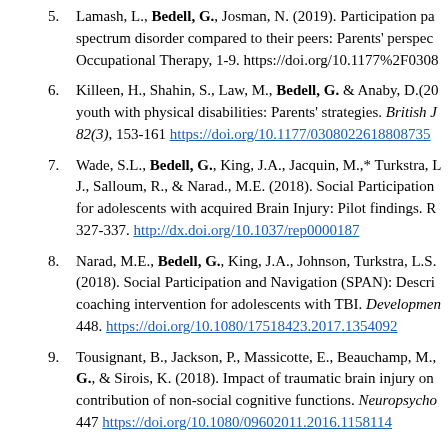5. Lamash, L., Bedell, G., Josman, N. (2019). Participation pa spectrum disorder compared to their peers: Parents' perspec Occupational Therapy, 1-9. https://doi.org/10.1177%2F0308
6. Killeen, H., Shahin, S., Law, M., Bedell, G. & Anaby, D.(20 youth with physical disabilities: Parents' strategies. British J 82(3), 153-161 https://doi.org/10.1177/0308022618808735
7. Wade, S.L., Bedell, G., King, J.A., Jacquin, M.,* Turkstra, L J., Salloum, R., & Narad., M.E. (2018). Social Participation for adolescents with acquired Brain Injury: Pilot findings. R 327-337. http://dx.doi.org/10.1037/rep0000187
8. Narad, M.E., Bedell, G., King, J.A., Johnson, Turkstra, L.S. (2018). Social Participation and Navigation (SPAN): Descri coaching intervention for adolescents with TBI. Developmen 448. https://doi.org/10.1080/17518423.2017.1354092
9. Tousignant, B., Jackson, P., Massicotte, E., Beauchamp, M., G., & Sirois, K. (2018). Impact of traumatic brain injury on contribution of non-social cognitive functions. Neuropsycho 447 https://doi.org/10.1080/09602011.2016.1158114
10. Sirois, K., Tousignant,B., Boucher, N., Achim, A.M., Beauc